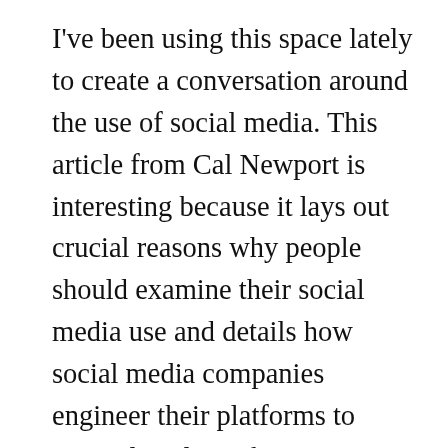I've been using this space lately to create a conversation around the use of social media. This article from Cal Newport is interesting because it lays out crucial reasons why people should examine their social media use and details how social media companies engineer their platforms to compulsively suck users in. Capturing users is the name of the game for social media companies; it is the basis of their business model. The average user spends two hours a day surfing social media. Going back to my stated goal of rebuilding my running practice to include regular strength and mobility work, I have had to recognize that while I do not spend two hours a day on Twitter and Facebook, I spend more time on them than